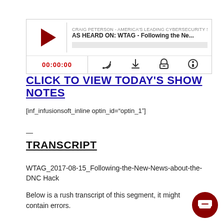[Figure (screenshot): Podcast player widget showing Craig Peterson - America's Leading Cybersecurity show. Title: AS HEARD ON: WTAG - Following the Ne... Timestamp: 00:00:00. Controls: subscribe, download, embed, lock icons.]
CLICK TO VIEW TODAY'S SHOW NOTES
[inf_infusionsoft_inline optin_id="optin_1"]
—
TRANSCRIPT
WTAG_2017-08-15_Following-the-New-News-about-the-DNC Hack
Below is a rush transcript of this segment, it might contain errors.